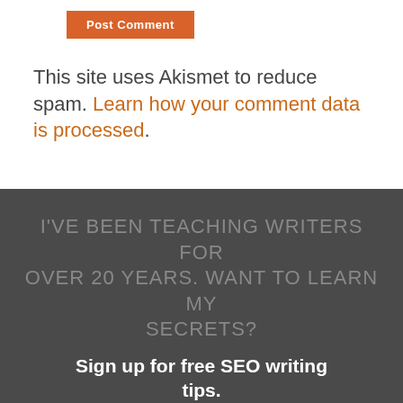[Figure (other): Orange 'Post Comment' button]
This site uses Akismet to reduce spam. Learn how your comment data is processed.
I'VE BEEN TEACHING WRITERS FOR OVER 20 YEARS. WANT TO LEARN MY SECRETS?
Sign up for free SEO writing tips.
Name: